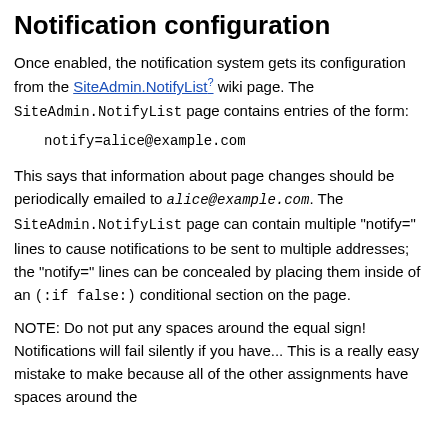Notification configuration
Once enabled, the notification system gets its configuration from the SiteAdmin.NotifyList wiki page. The SiteAdmin.NotifyList page contains entries of the form:
notify=alice@example.com
This says that information about page changes should be periodically emailed to alice@example.com. The SiteAdmin.NotifyList page can contain multiple "notify=" lines to cause notifications to be sent to multiple addresses; the "notify=" lines can be concealed by placing them inside of an (:if false:) conditional section on the page.
NOTE: Do not put any spaces around the equal sign! Notifications will fail silently if you have... This is a really easy mistake to make because all of the other assignments have spaces around the equal sign.